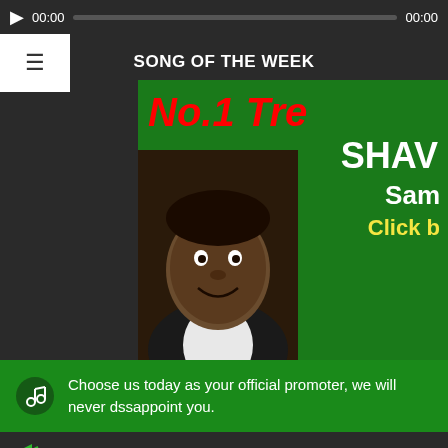[Figure (screenshot): Audio player bar with play button, progress bar, and time stamps 00:00 and 00:00]
SONG OF THE WEEK
[Figure (photo): Album art thumbnail on green background showing 'No.1 Tre', 'SHA', 'Sam', 'Click b' text in red, white, and yellow, with a man's photo]
Choose us today as your official promoter, we will never dssappoint you.
spirational Melodiuos Gospel Song/Video/Church program/Con
OJV STORS